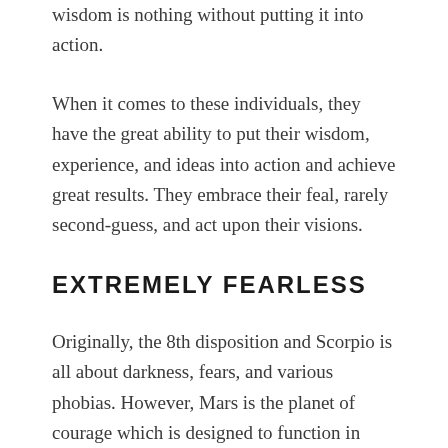wisdom is nothing without putting it into action.
When it comes to these individuals, they have the great ability to put their wisdom, experience, and ideas into action and achieve great results. They embrace their feal, rarely second-guess, and act upon their visions.
EXTREMELY FEARLESS
Originally, the 8th disposition and Scorpio is all about darkness, fears, and various phobias. However, Mars is the planet of courage which is designed to function in frightening environments effectively.